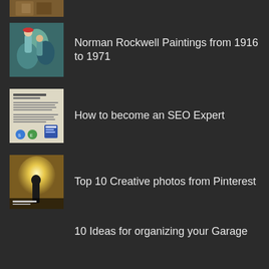[Figure (photo): Partial thumbnail image cropped at top of page]
[Figure (photo): Norman Rockwell painting thumbnail showing figures in teal/blue tones]
Norman Rockwell Paintings from 1916 to 1971
[Figure (screenshot): SEO expert article thumbnail with text and blue logo]
How to become an SEO Expert
[Figure (photo): Creative Pinterest photo thumbnail with silhouette figure]
Top 10 Creative photos from Pinterest
10 Ideas for organizing your Garage